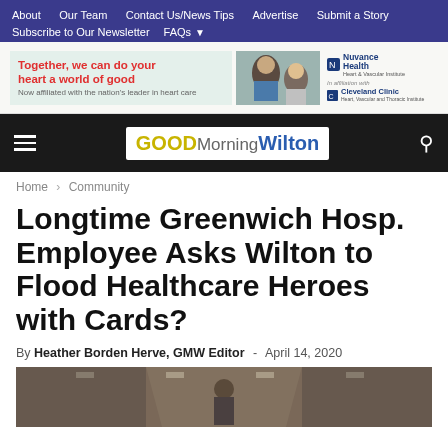About  Our Team  Contact Us/News Tips  Advertise  Submit a Story  Subscribe to Our Newsletter  FAQs
[Figure (other): Advertisement banner: 'Together, we can do your heart a world of good — Now affiliated with the nation's leader in heart care' with photo of healthcare workers and Nuvance Health / Cleveland Clinic logos]
GOOD Morning Wilton — site navigation header with hamburger menu and search icon
Home › Community
Longtime Greenwich Hosp. Employee Asks Wilton to Flood Healthcare Heroes with Cards?
By Heather Borden Herve, GMW Editor  -  April 14, 2020
[Figure (photo): Hospital corridor photo showing a figure in a hallway with ceiling lights]